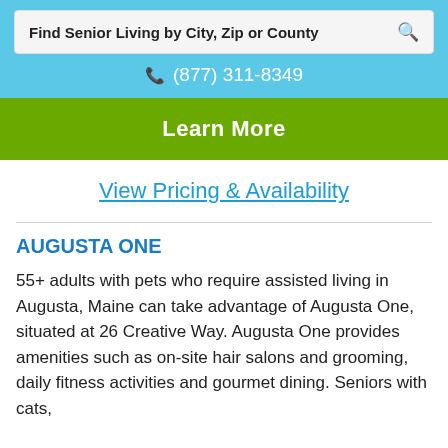Find Senior Living by City, Zip or County
(877) 311-8349
Learn More
View Pricing & Availability
AUGUSTA ONE
55+ adults with pets who require assisted living in Augusta, Maine can take advantage of Augusta One, situated at 26 Creative Way. Augusta One provides amenities such as on-site hair salons and grooming, daily fitness activities and gourmet dining. Seniors with cats,